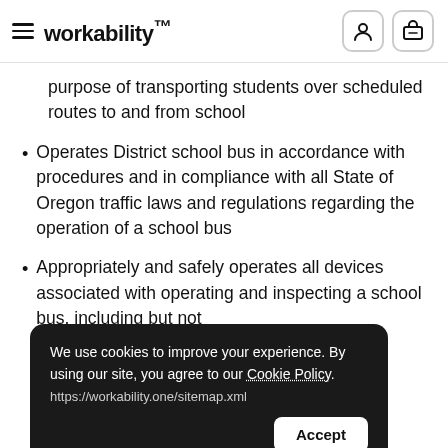workability™
purpose of transporting students over scheduled routes to and from school
Operates District school bus in accordance with procedures and in compliance with all State of Oregon traffic laws and regulations regarding the operation of a school bus
Appropriately and safely operates all devices associated with operating and inspecting a school bus, including but not limited to: first aid kit; fire extinguisher; irons; car s and wheelchair securements; wheelchair
We use cookies to improve your experience. By using our site, you agree to our Cookie Policy. https://workability.one/sitemap.xml